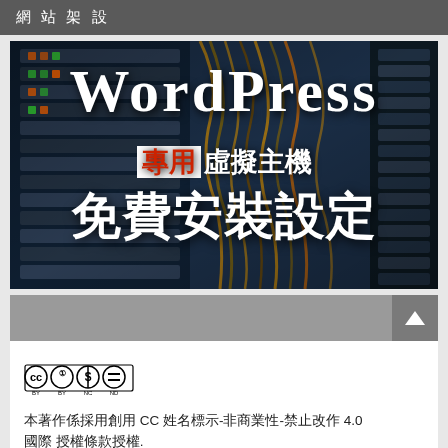網站架設
[Figure (photo): WordPress server rack hosting advertisement image showing server hardware in background with large white text 'WordPress' in serif font, red and white '專用' text, white '虛擬主機' text, and large white '免費安裝設定' text on dark blue server rack background]
[Figure (other): Grey navigation bar with up arrow scroll button on the right]
[Figure (logo): Creative Commons license icon: CC BY NC ND]
本著作係採用創用 CC 姓名標示-非商業性-禁止改作 4.0 國際 授權條款授權.